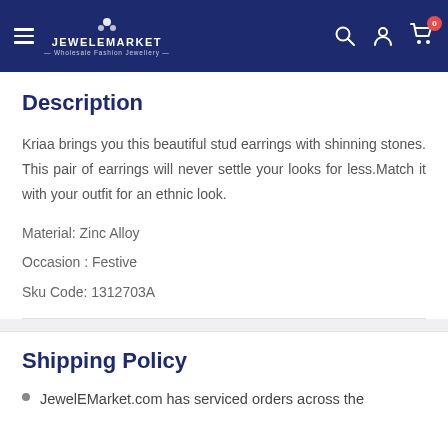JEWELEMARKET — Wholesale Fashion Jewellery
Description
Kriaa brings you this beautiful stud earrings with shinning stones. This pair of earrings will never settle your looks for less.Match it with your outfit for an ethnic look.
Material: Zinc Alloy
Occasion : Festive
Sku Code: 1312703A
Shipping Policy
JewelEMarket.com has serviced orders across the